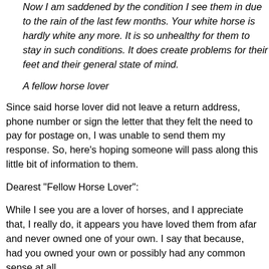Now I am saddened by the condition I see them in due to the rain of the last few months. Your white horse is hardly white any more. It is so unhealthy for them to stay in such conditions. It does create problems for their feet and their general state of mind.
A fellow horse lover
Since said horse lover did not leave a return address, phone number or sign the letter that they felt the need to pay for postage on, I was unable to send them my response. So, here's hoping someone will pass along this little bit of information to them.
Dearest "Fellow Horse Lover":
While I see you are a lover of horses, and I appreciate that, I really do, it appears you have loved them from afar and never owned one of your own. I say that because, had you owned your own or possibly had any common sense at all,